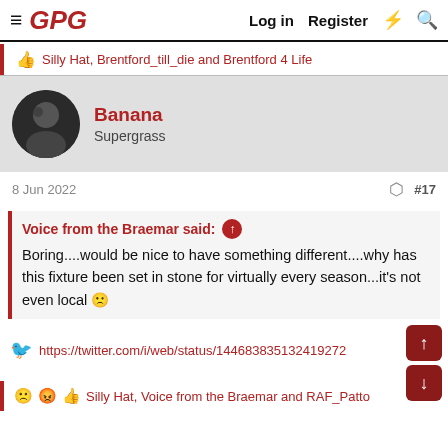GPG | Log in | Register
Silly Hat, Brentford_till_die and Brentford 4 Life
Banana
Supergrass
8 Jun 2022  #17
Voice from the Braemar said: ↑

Boring....would be nice to have something different....why has this fixture been set in stone for virtually every season...it's not even local 🙁
https://twitter.com/i/web/status/144683835132419272
Silly Hat, Voice from the Braemar and RAF_Patto